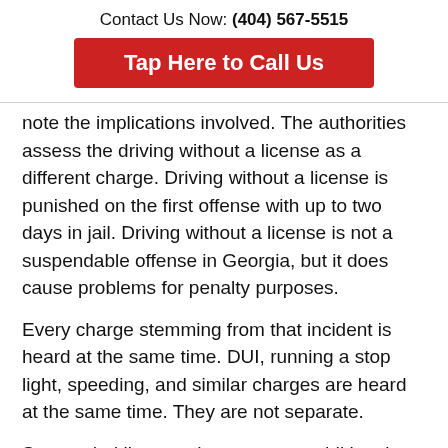Contact Us Now: (404) 567-5515
Tap Here to Call Us
note the implications involved. The authorities assess the driving without a license as a different charge. Driving without a license is punished on the first offense with up to two days in jail. Driving without a license is not a suspendable offense in Georgia, but it does cause problems for penalty purposes.
Every charge stemming from that incident is heard at the same time. DUI, running a stop light, speeding, and similar charges are heard at the same time. They are not separate.
Suspended license charges carry additional